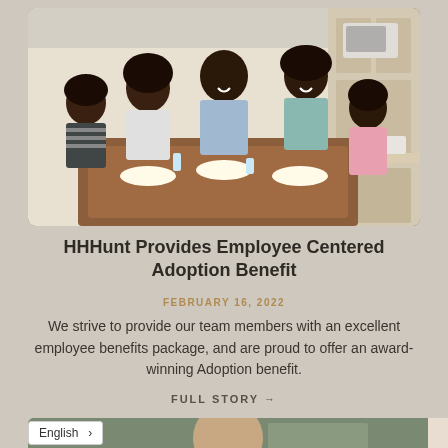[Figure (photo): A Black family of five adults and children laughing and sharing a meal together at a wooden dining table in a bright kitchen setting.]
HHHunt Provides Employee Centered Adoption Benefit
FEBRUARY 16, 2022
We strive to provide our team members with an excellent employee benefits package, and are proud to offer an award-winning Adoption benefit.
FULL STORY →
[Figure (photo): A man with short hair partially visible at the bottom of the page, appearing to be in a professional setting.]
English >